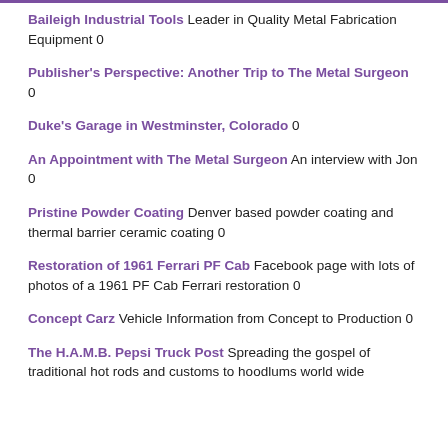Baileigh Industrial Tools Leader in Quality Metal Fabrication Equipment 0
Publisher's Perspective: Another Trip to The Metal Surgeon 0
Duke's Garage in Westminster, Colorado 0
An Appointment with The Metal Surgeon An interview with Jon 0
Pristine Powder Coating Denver based powder coating and thermal barrier ceramic coating 0
Restoration of 1961 Ferrari PF Cab Facebook page with lots of photos of a 1961 PF Cab Ferrari restoration 0
Concept Carz Vehicle Information from Concept to Production 0
The H.A.M.B. Pepsi Truck Post Spreading the gospel of traditional hot rods and customs to hoodlums world wide